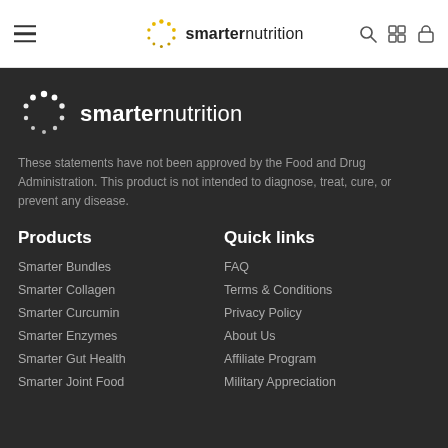smarter nutrition navigation bar with hamburger menu, logo, search, store, and cart icons
[Figure (logo): Smarter Nutrition logo with dots circle icon and brand name in footer dark section]
These statements have not been approved by the Food and Drug Administration. This product is not intended to diagnose, treat, cure, or prevent any disease.
Products
Smarter Bundles
Smarter Collagen
Smarter Curcumin
Smarter Enzymes
Smarter Gut Health
Smarter Joint Food
Quick links
FAQ
Terms & Conditions
Privacy Policy
About Us
Affiliate Program
Military Appreciation